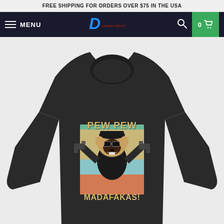FREE SHIPPING FOR ORDERS OVER $75 IN THE USA
[Figure (screenshot): E-commerce website navigation bar with hamburger menu, MENU text, logo (stylized letter D with brand name), search icon, and cart button showing 0 items]
[Figure (photo): Black crewneck sweatshirt featuring a graphic of a Rottweiler dog wearing sunglasses and holding two guns, with text 'PEW PEW' above and 'MADAFAKAS!' below, in vintage retro style with teal, blue, and orange color bands]